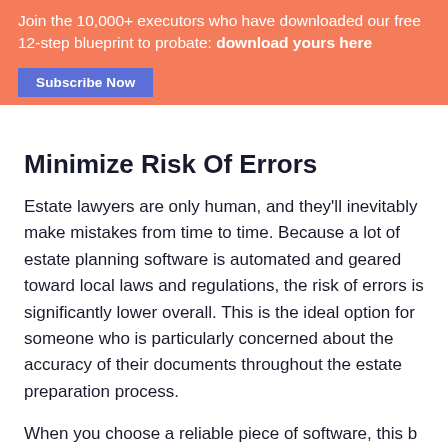Join the 10,000+ executors who have downloaded our free 12-step blueprint to probate: download yours here
Subscribe Now
Minimize Risk Of Errors
Estate lawyers are only human, and they'll inevitably make mistakes from time to time. Because a lot of estate planning software is automated and geared toward local laws and regulations, the risk of errors is significantly lower overall. This is the ideal option for someone who is particularly concerned about the accuracy of their documents throughout the estate preparation process.
When you choose a reliable piece of software, this b…